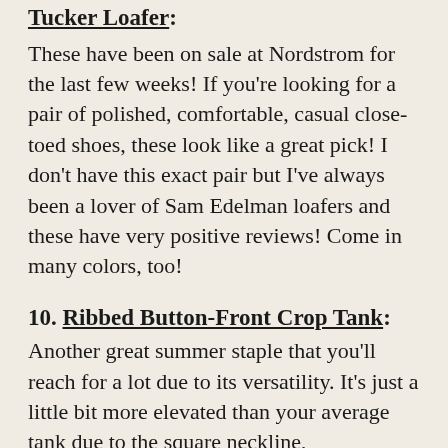9. Tucker Loafer:
These have been on sale at Nordstrom for the last few weeks! If you're looking for a pair of polished, comfortable, casual close-toed shoes, these look like a great pick! I don't have this exact pair but I've always been a lover of Sam Edelman loafers and these have very positive reviews! Come in many colors, too!
10. Ribbed Button-Front Crop Tank:
Another great summer staple that you'll reach for a lot due to its versatility. It's just a little bit more elevated than your average tank due to the square neckline,